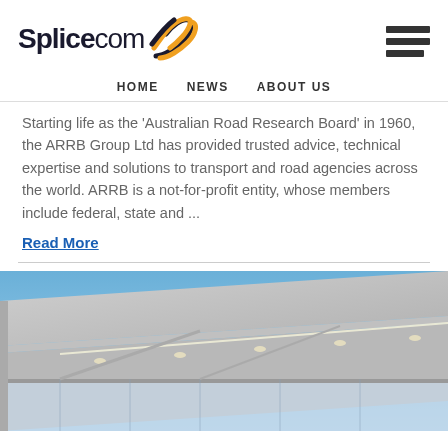Splicecom [logo with hamburger menu]
HOME  NEWS  ABOUT US
Starting life as the 'Australian Road Research Board' in 1960, the ARRB Group Ltd has provided trusted advice, technical expertise and solutions to transport and road agencies across the world. ARRB is a not-for-profit entity, whose members include federal, state and ...
Read More
[Figure (photo): Exterior photo of a modern building with glass facade, overhanging canopy with recessed lighting, against a blue sky.]